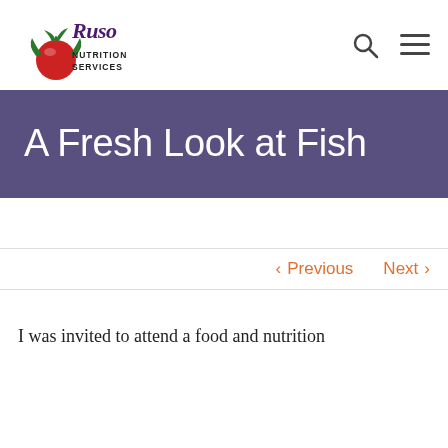[Figure (logo): Ruso Nutrition Services logo with script text and tomato/vegetable illustration]
A Fresh Look at Fish
< Previous   Next >
I was invited to attend a food and nutrition